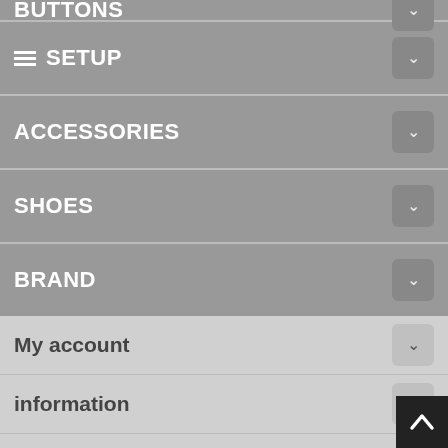BUTTONS (partial, cropped)
SETUP
ACCESSORIES
SHOES
BRAND
My account
information
MAIL MAGAZINE
Enter e-mail address